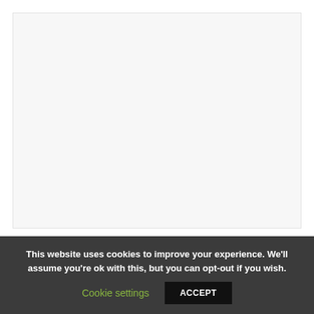[Figure (other): Large light gray placeholder image area at the top of the page]
Integer cursus accumsan laoreet. Nunc quis porta ligula. Cras nulla lectus, fermentum et sagittis nec, fringilla sit amet.
Read More >
This website uses cookies to improve your experience. We'll assume you're ok with this, but you can opt-out if you wish.
Cookie settings
ACCEPT